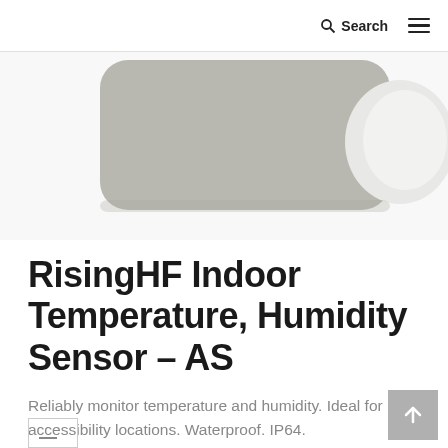Search
[Figure (photo): Product photo of RisingHF Indoor Temperature and Humidity Sensor on a grey/white background]
RisingHF Indoor Temperature, Humidity Sensor – AS
Reliably monitor temperature and humidity. Ideal for low-accessibility locations. Waterproof. IP64.